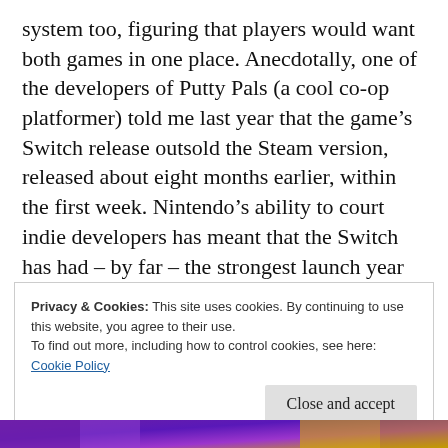system too, figuring that players would want both games in one place. Anecdotally, one of the developers of Putty Pals (a cool co-op platformer) told me last year that the game's Switch release outsold the Steam version, released about eight months earlier, within the first week. Nintendo's ability to court indie developers has meant that the Switch has had – by far – the strongest launch year I've ever seen a console have.
Privacy & Cookies: This site uses cookies. By continuing to use this website, you agree to their use.
To find out more, including how to control cookies, see here:
Cookie Policy
[Figure (photo): Partial colorful game screenshot strip at the bottom of the page, showing purple and yellow tones.]